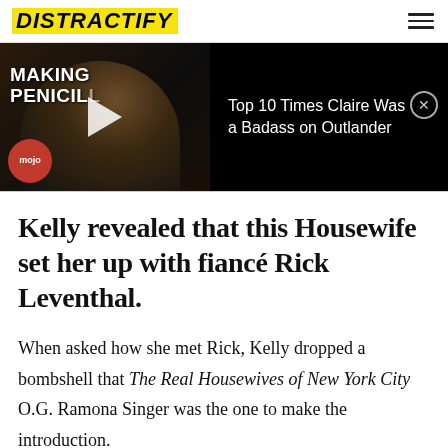DISTRACTIFY
[Figure (screenshot): Video ad banner on dark background showing a woman, WatchMojo logo, play button, and text 'MAKING PENICILLIN'. Right side reads: 'Top 10 Times Claire Was a Badass on Outlander' with a close button.]
Kelly revealed that this Housewife set her up with fiancé Rick Leventhal.
When asked how she met Rick, Kelly dropped a bombshell that The Real Housewives of New York City O.G. Ramona Singer was the one to make the introduction.
"I met him through Ramona at his barbecue in the